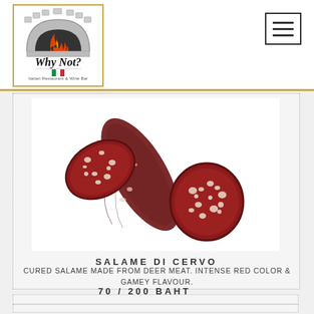[Figure (logo): Why Not? Italian Restaurant & Wine Bar logo with pizza oven arch and flame graphic]
[Figure (photo): Salame di Cervo - cured deer meat salami, showing a log with two slices cut, dark red color with white fat marbling]
SALAME DI CERVO
CURED SALAME MADE FROM DEER MEAT. INTENSE RED COLOR & GAMEY FLAVOUR.
70 / 200 BAHT